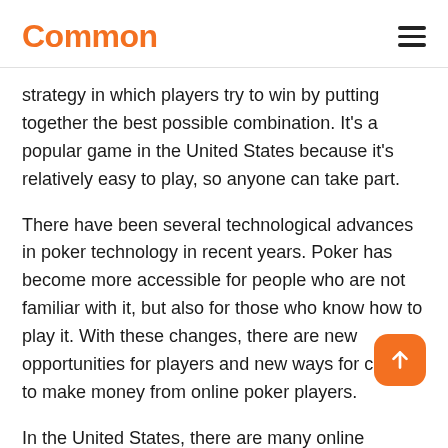Common
strategy in which players try to win by putting together the best possible combination. It's a popular game in the United States because it's relatively easy to play, so anyone can take part.
There have been several technological advances in poker technology in recent years. Poker has become more accessible for people who are not familiar with it, but also for those who know how to play it. With these changes, there are new opportunities for players and new ways for casinos to make money from online poker players.
In the United States, there are many online casinos offering poker games, and the